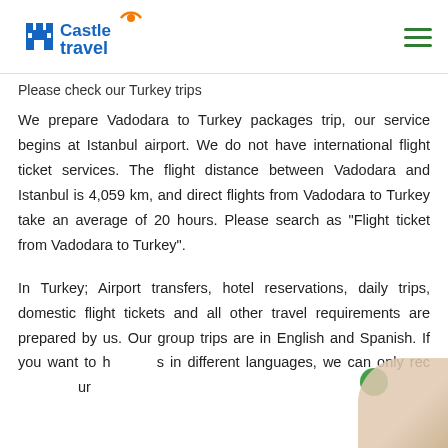Castle Travel
Please check our Turkey trips
We prepare Vadodara to Turkey packages trip, our service begins at Istanbul airport. We do not have international flight ticket services. The flight distance between Vadodara and Istanbul is 4,059 km, and direct flights from Vadodara to Turkey take an average of 20 hours. Please search as "Flight ticket from Vadodara to Turkey".
In Turkey; Airport transfers, hotel reservations, daily trips, domestic flight tickets and all other travel requirements are prepared by us. Our group trips are in English and Spanish. If you want to have tours in different languages, we can only rec... our